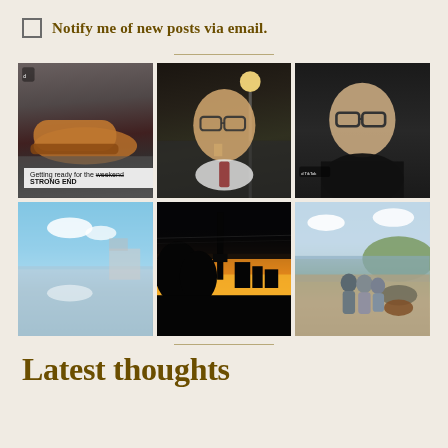Notify me of new posts via email.
[Figure (photo): Six photo grid: brown shoe on pavement with TikTok overlay text 'Getting ready for the weekend STRONG END'; older man with glasses smiling at night road; man with glasses selfie in black shirt; calm water reflection with clouds; Auckland city skyline silhouette at sunset with orange sky; three people on a beach]
Latest thoughts